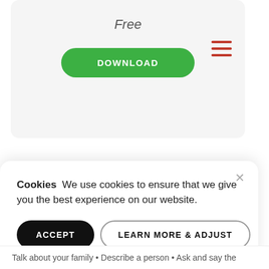Free
[Figure (screenshot): Green DOWNLOAD button on a light grey card background]
[Figure (other): Hamburger menu icon with three red horizontal lines]
Cookies  We use cookies to ensure that we give you the best experience on our website.
[Figure (screenshot): ACCEPT button (black, pill-shaped) and LEARN MORE & ADJUST button (white, pill-shaped with border)]
Talk about your family • Describe a person • Ask and say the